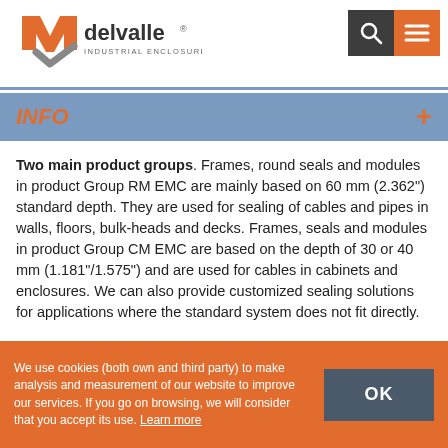[Figure (logo): Delvalle Industrial Enclosure Solutions logo with orange M-shaped mark and grey checkmark]
INFO
Two main product groups. Frames, round seals and modules in product Group RM EMC are mainly based on 60 mm (2.362") standard depth. They are used for sealing of cables and pipes in walls, floors, bulk-heads and decks. Frames, seals and modules in product Group CM EMC are based on the depth of 30 or 40 mm (1.181"/1.575") and are used for cables in cabinets and enclosures. We can also provide customized sealing solutions for applications where the standard system does not fit directly.
We use cookies (both own and third party) to make analysis and measurement of our website to improve our services. If you go on browsing, we will consider that you accept its use. Learn more